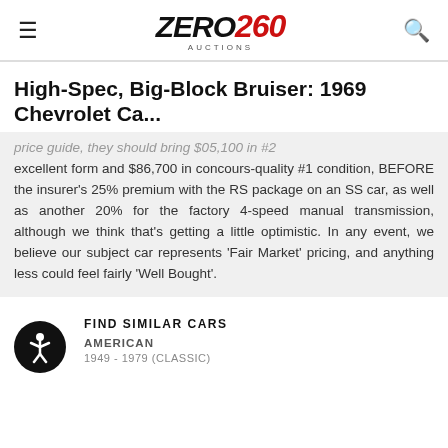Zero260 Auctions
High-Spec, Big-Block Bruiser: 1969 Chevrolet Ca...
excellent form and $86,700 in concours-quality #1 condition, BEFORE the insurer's 25% premium with the RS package on an SS car, as well as another 20% for the factory 4-speed manual transmission, although we think that's getting a little optimistic. In any event, we believe our subject car represents 'Fair Market' pricing, and anything less could feel fairly 'Well Bought'.
FIND SIMILAR CARS
AMERICAN
1949 - 1979 (CLASSIC)